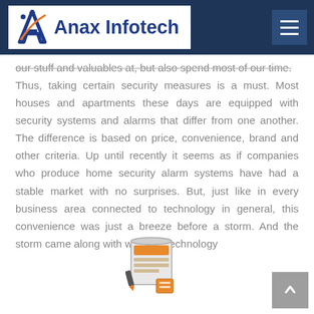Anax Infotech
our stuff and valuables at, but also spend most of our time. Thus, taking certain security measures is a must. Most houses and apartments these days are equipped with security systems and alarms that differ from one another. The difference is based on price, convenience, brand and other criteria. Up until recently it seems as if companies who produce home security alarm systems have had a stable market with no surprises. But, just like in every business area connected to technology in general, this convenience was just a breeze before a storm. And the storm came along with wireless technology
[Figure (illustration): A small icon/illustration of a document or newspaper with orange and brown colors]